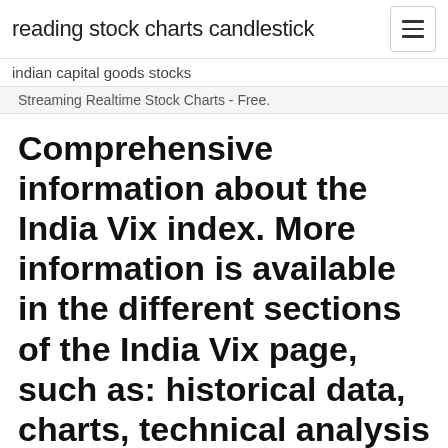reading stock charts candlestick
indian capital goods stocks
Streaming Realtime Stock Charts - Free.
Comprehensive information about the India Vix index. More information is available in the different sections of the India Vix page, such as: historical data, charts, technical analysis and others. Candlestick Chart
The futures price is quoted as 100 times the Index Value. For